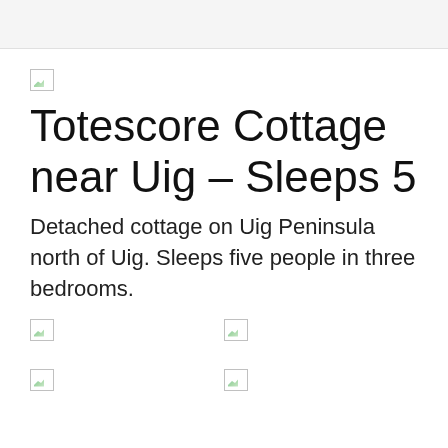[Figure (photo): Broken/unloaded image placeholder at top of listing]
Totescore Cottage near Uig - Sleeps 5
Detached cottage on Uig Peninsula north of Uig. Sleeps five people in three bedrooms.
[Figure (photo): Broken/unloaded image placeholder - top left of grid]
[Figure (photo): Broken/unloaded image placeholder - top right of grid]
[Figure (photo): Broken/unloaded image placeholder - bottom left of grid]
[Figure (photo): Broken/unloaded image placeholder - bottom right of grid]